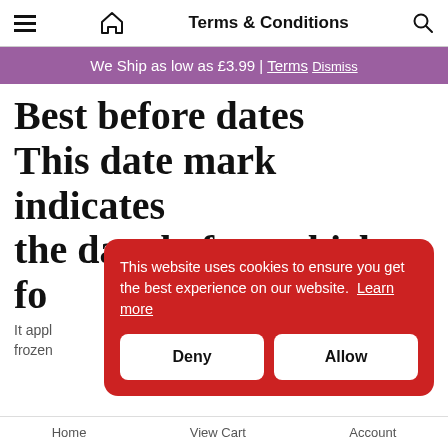Terms & Conditions
We Ship as low as £3.99 | Terms Dismiss
Best before dates This date mark indicates the date before which fo...
It app...
frozen...
This website uses cookies to ensure you get the best experience on our website. Learn more
Deny
Allow
Home  View Cart  Account